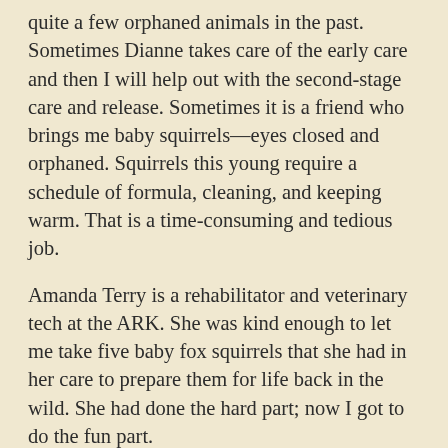quite a few orphaned animals in the past. Sometimes Dianne takes care of the early care and then I will help out with the second-stage care and release. Sometimes it is a friend who brings me baby squirrels—eyes closed and orphaned. Squirrels this young require a schedule of formula, cleaning, and keeping warm. That is a time-consuming and tedious job.
Amanda Terry is a rehabilitator and veterinary tech at the ARK. She was kind enough to let me take five baby fox squirrels that she had in her care to prepare them for life back in the wild. She had done the hard part; now I got to do the fun part.
Dianne delivered the first little baby from the ARK. I put him in the cage with food, hammock, water, and branches to climb on. He was very shy, but soon found the hammock that hangs from the top of the cage. I keep the squirrels on the covered back porch where they can see other squirrels